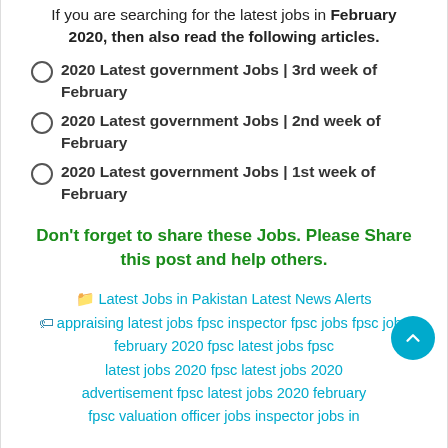If you are searching for the latest jobs in February 2020, then also read the following articles.
2020 Latest government Jobs | 3rd week of February
2020 Latest government Jobs | 2nd week of February
2020 Latest government Jobs | 1st week of February
Don't forget to share these Jobs. Please Share this post and help others.
Latest Jobs in Pakistan Latest News Alerts appraising latest jobs fpsc inspector fpsc jobs fpsc jobs february 2020 fpsc latest jobs fpsc latest jobs 2020 fpsc latest jobs 2020 advertisement fpsc latest jobs 2020 february fpsc valuation officer jobs inspector jobs in